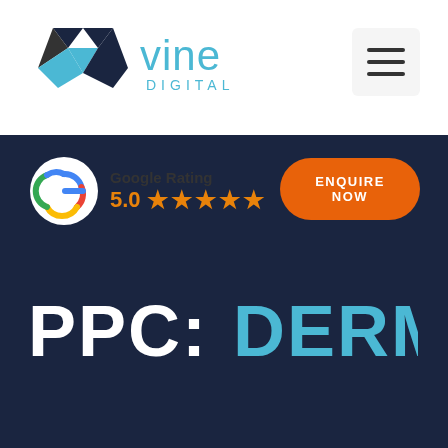[Figure (logo): Vine Digital logo with geometric W icon and text 'vine DIGITAL' in cyan/dark blue]
[Figure (other): Hamburger menu icon (three horizontal lines) inside a light gray rounded square button]
[Figure (other): Google Rating badge showing colorful G logo, 'Google Rating' text, '5.0' score and five orange stars]
[Figure (other): Orange pill-shaped button with text 'ENQUIRE NOW' in white bold uppercase letters]
PPC: DERMEZE